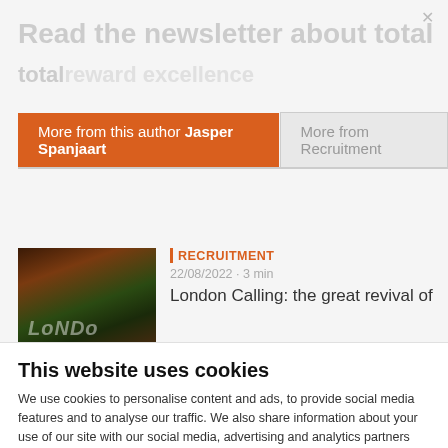Read the newsletter about total
More from this author Jasper Spanjaart
More from Recruitment
[Figure (photo): Dark outdoor photo with foliage and graffiti text]
RECRUITMENT
22/08/2022 · 3 min
London Calling: the great revival of
This website uses cookies
We use cookies to personalise content and ads, to provide social media features and to analyse our traffic. We also share information about your use of our site with our social media, advertising and analytics partners who may combine it with other information that you've provided to them or that they've collected from your use of their services. You consent to our cookies if you continue to use our website.
Use necessary cookies only
Allow all cookies
Show details